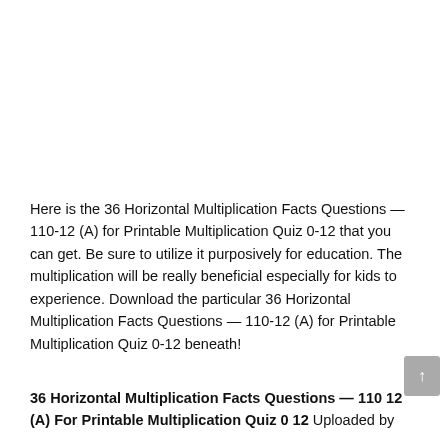Here is the 36 Horizontal Multiplication Facts Questions — 110-12 (A) for Printable Multiplication Quiz 0-12 that you can get. Be sure to utilize it purposively for education. The multiplication will be really beneficial especially for kids to experience. Download the particular 36 Horizontal Multiplication Facts Questions — 110-12 (A) for Printable Multiplication Quiz 0-12 beneath!
36 Horizontal Multiplication Facts Questions — 110 12 (A) For Printable Multiplication Quiz 0 12 Uploaded by